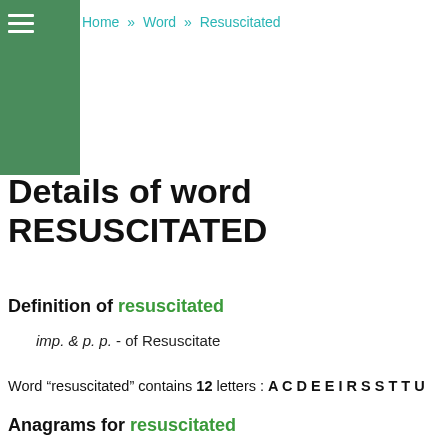Home » Word » Resuscitated
Details of word RESUSCITATED
Definition of resuscitated
imp. & p. p. - of Resuscitate
Word "resuscitated" contains 12 letters : A C D E E I R S S T T U
Anagrams for resuscitated
Word resuscitated has no exact anagram.